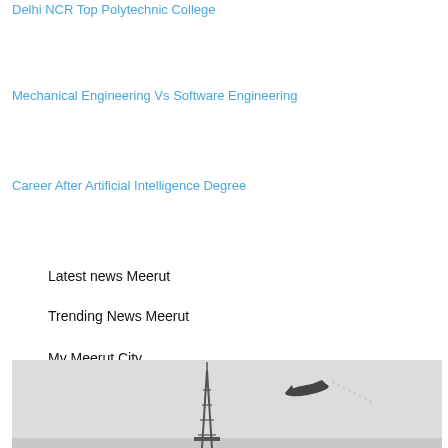Delhi NCR Top Polytechnic College
Mechanical Engineering Vs Software Engineering
Career After Artificial Intelligence Degree
Latest news Meerut
Trending News Meerut
My Meerut City
[Figure (photo): Black and white photograph showing a tall tower/antenna structure and an airplane flying in a grey sky]